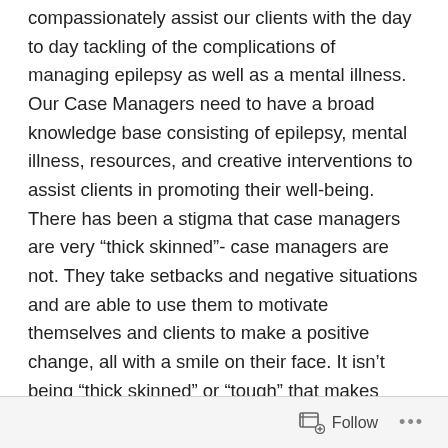compassionately assist our clients with the day to day tackling of the complications of managing epilepsy as well as a mental illness. Our Case Managers need to have a broad knowledge base consisting of epilepsy, mental illness, resources, and creative interventions to assist clients in promoting their well-being. There has been a stigma that case managers are very “thick skinned”- case managers are not. They take setbacks and negative situations and are able to use them to motivate themselves and clients to make a positive change, all with a smile on their face. It isn’t being “thick skinned” or “tough” that makes them this way- It is a gift that they possess that allows them to see the silver lining in dismal situations and celebrate every success no matter how small!
Follow ...